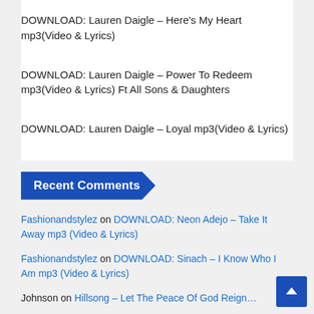DOWNLOAD: Lauren Daigle – Here's My Heart mp3(Video & Lyrics)
DOWNLOAD: Lauren Daigle – Power To Redeem mp3(Video & Lyrics) Ft All Sons & Daughters
DOWNLOAD: Lauren Daigle – Loyal mp3(Video & Lyrics)
Recent Comments
Fashionandstylez on DOWNLOAD: Neon Adejo – Take It Away mp3 (Video & Lyrics)
Fashionandstylez on DOWNLOAD: Sinach – I Know Who I Am mp3 (Video & Lyrics)
Johnson on Hillsong – Let The Peace Of God Reign…